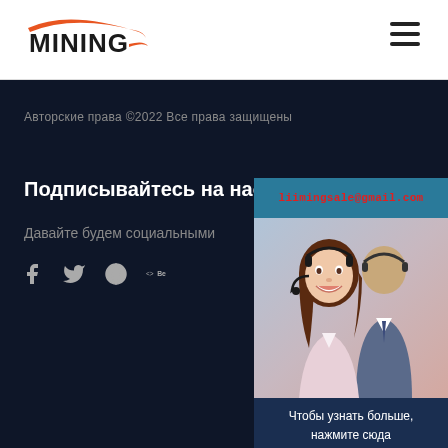[Figure (logo): MINING logo with orange swoosh/arrow arc to the right]
≡ (hamburger menu icon)
Авторские права ©2022 Все права защищены
Подписывайтесь на нас
Давайте будем социальными
[Figure (infographic): Social media icons: Facebook (f), Twitter (bird), globe/network icon, Behance (<>Be)]
[Figure (infographic): Right panel with email liimingsale@gmail.com in red on teal bar, photo of smiling customer service representatives with headsets, teal/dark navy background, text 'Чтобы узнать больше, нажмите сюда', and red text 'запрос' at bottom]